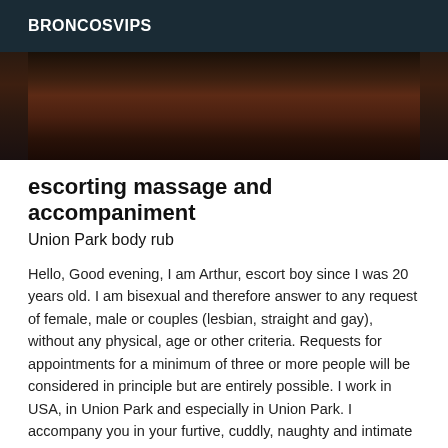BRONCOSVIPS
[Figure (photo): Dark, dimly lit photo showing partial view of legs against a dark background]
escorting massage and accompaniment
Union Park body rub
Hello, Good evening, I am Arthur, escort boy since I was 20 years old. I am bisexual and therefore answer to any request of female, male or couples (lesbian, straight and gay), without any physical, age or other criteria. Requests for appointments for a minimum of three or more people will be considered in principle but are entirely possible. I work in USA, in Union Park and especially in Union Park. I accompany you in your furtive, cuddly, naughty and intimate desires. Whether it is for an evening, a shared moment of relaxation, a massage or a more intimate moment, I am at your side to satisfy you. Experienced, I wish that our meeting is of